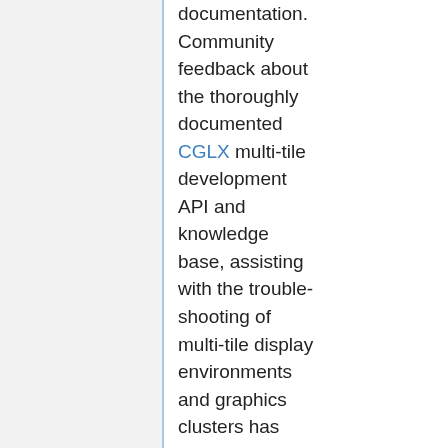documentation. Community feedback about the thoroughly documented CGLX multi-tile development API and knowledge base, assisting with the trouble-shooting of multi-tile display environments and graphics clusters has been overwhelmingly positive. (Read More)
October 6, 2008 - Our HiPerWall